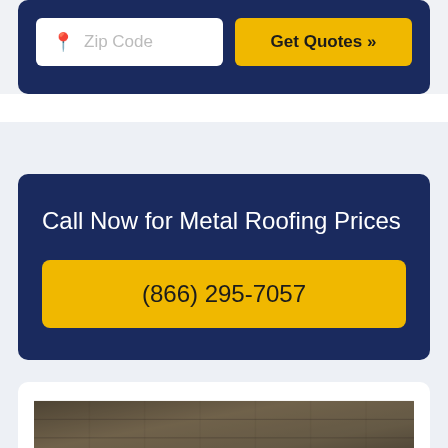[Figure (screenshot): Dark navy blue widget with zip code input field (showing pin icon and 'Zip Code' placeholder text) and a yellow 'Get Quotes >>' button]
Call Now for Metal Roofing Prices
(866) 295-7057
[Figure (photo): Partial photo of a dark-colored roof surface at bottom of page]